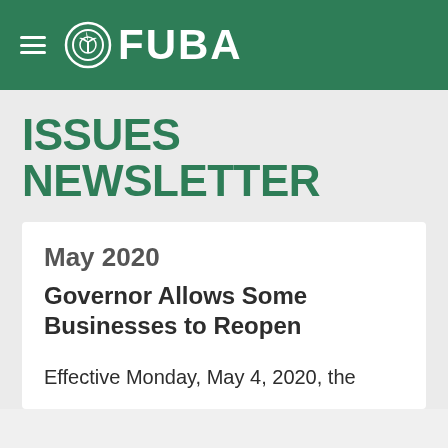FUBA
ISSUES NEWSLETTER
May 2020
Governor Allows Some Businesses to Reopen
Effective Monday, May 4, 2020, the